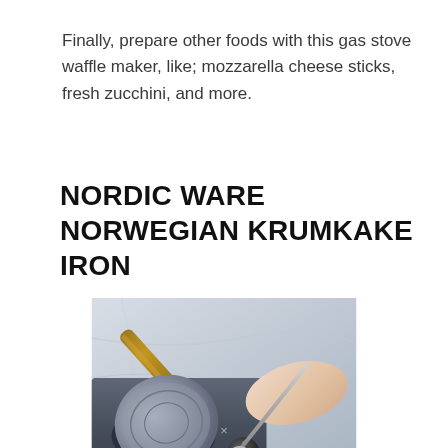Finally, prepare other foods with this gas stove waffle maker, like; mozzarella cheese sticks, fresh zucchini, and more.
NORDIC WARE NORWEGIAN KRUMKAKE IRON
[Figure (photo): A Nordic Ware Norwegian Krumkake Iron being used on a gas stove. A hand holds a small ladle pouring batter onto the circular iron, which has a wooden handle. The stove is dark gray and the background appears to be a marble surface.]